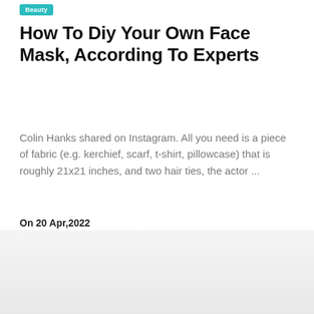Beauty
How To Diy Your Own Face Mask, According To Experts
Colin Hanks shared on Instagram. All you need is a piece of fabric (e.g. kerchief, scarf, t-shirt, pillowcase) that is roughly 21x21 inches, and two hair ties, the actor ...
On 20 Apr,2022